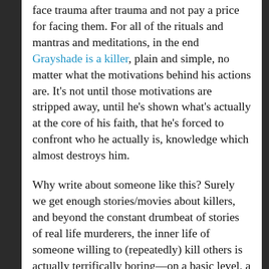face trauma after trauma and not pay a price for facing them. For all of the rituals and mantras and meditations, in the end Grayshade is a killer, plain and simple, no matter what the motivations behind his actions are. It's not until those motivations are stripped away, until he's shown what's actually at the core of his faith, that he's forced to confront who he actually is, knowledge which almost destroys him.
Why write about someone like this? Surely we get enough stories/movies about killers, and beyond the constant drumbeat of stories of real life murderers, the inner life of someone willing to (repeatedly) kill others is actually terrifically boring—on a basic level, a murder is the ultimate act of petty selfishness, the elimination of the most fundamental right to fulfill a individual desire driven by hatred, or vengeance, or